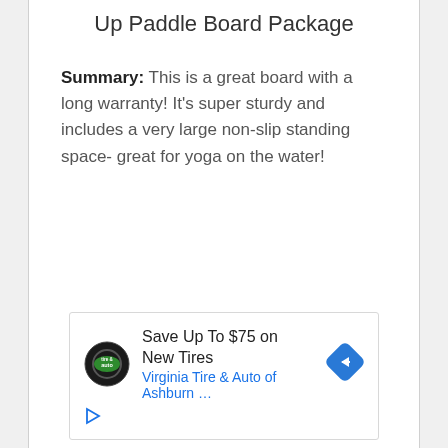Up Paddle Board Package
Summary: This is a great board with a long warranty! It's super sturdy and includes a very large non-slip standing space- great for yoga on the water!
[Figure (infographic): Advertisement banner: Tire & Auto logo, text 'Save Up To $75 on New Tires', subtext 'Virginia Tire & Auto of Ashburn …', blue diamond arrow icon, and a play/ad indicator icon.]